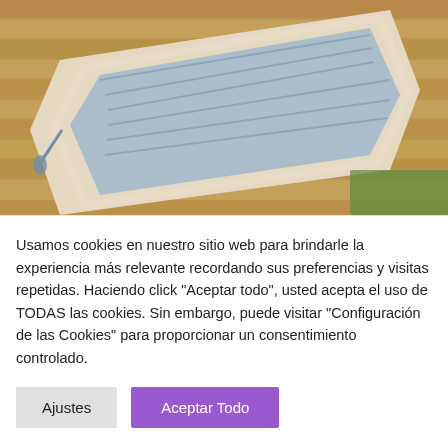[Figure (photo): Photo of a blue and cream crocheted shawl laid out on a wooden slatted surface, with blue tassels visible.]
Chal Mely
Ganchillo: 4 mm. Patrón del Chal Mely publicado en la página de
Usamos cookies en nuestro sitio web para brindarle la experiencia más relevante recordando sus preferencias y visitas repetidas. Haciendo click "Aceptar todo", usted acepta el uso de TODAS las cookies. Sin embargo, puede visitar "Configuración de las Cookies" para proporcionar un consentimiento controlado.